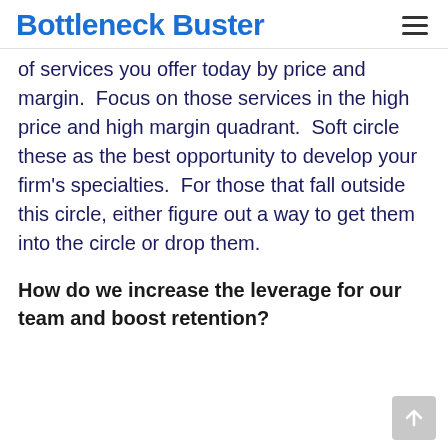Bottleneck Buster
of services you offer today by price and margin.  Focus on those services in the high price and high margin quadrant.  Soft circle these as the best opportunity to develop your firm's specialties.  For those that fall outside this circle, either figure out a way to get them into the circle or drop them.
How do we increase the leverage for our team and boost retention?